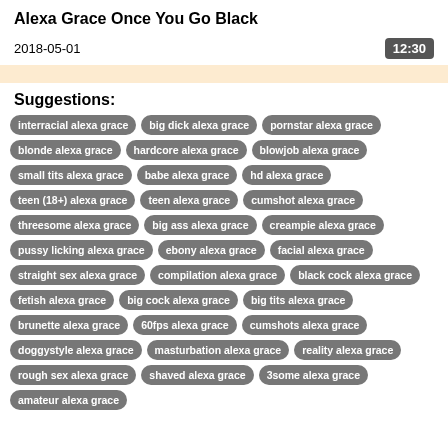Alexa Grace Once You Go Black
2018-05-01
12:30
Suggestions:
interracial alexa grace
big dick alexa grace
pornstar alexa grace
blonde alexa grace
hardcore alexa grace
blowjob alexa grace
small tits alexa grace
babe alexa grace
hd alexa grace
teen (18+) alexa grace
teen alexa grace
cumshot alexa grace
threesome alexa grace
big ass alexa grace
creampie alexa grace
pussy licking alexa grace
ebony alexa grace
facial alexa grace
straight sex alexa grace
compilation alexa grace
black cock alexa grace
fetish alexa grace
big cock alexa grace
big tits alexa grace
brunette alexa grace
60fps alexa grace
cumshots alexa grace
doggystyle alexa grace
masturbation alexa grace
reality alexa grace
rough sex alexa grace
shaved alexa grace
3some alexa grace
amateur alexa grace